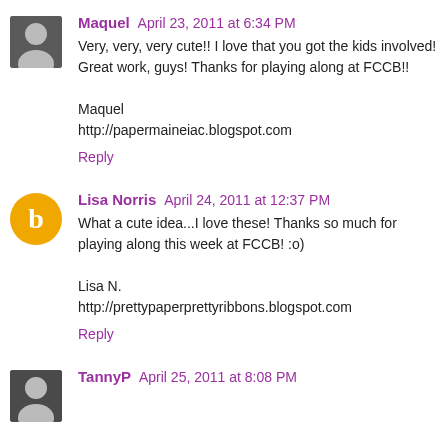Maquel April 23, 2011 at 6:34 PM
Very, very, very cute!! I love that you got the kids involved! Great work, guys! Thanks for playing along at FCCB!!

Maquel
http://papermaineiac.blogspot.com
Reply
Lisa Norris April 24, 2011 at 12:37 PM
What a cute idea...I love these! Thanks so much for playing along this week at FCCB! :o)

Lisa N.
http://prettypaperprettyribbons.blogspot.com
Reply
TannyP April 25, 2011 at 8:08 PM